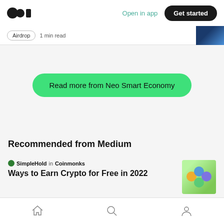Medium logo | Open in app | Get started
Airdrop  1 min read
Read more from Neo Smart Economy
Recommended from Medium
SimpleHold in Coinmonks
Ways to Earn Crypto for Free in 2022
Home | Search | Profile